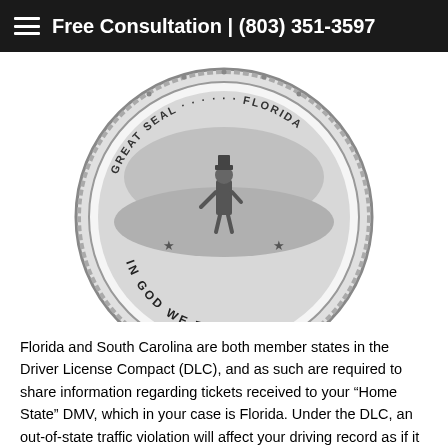Free Consultation | (803) 351-3597
[Figure (illustration): Black and white circular seal (Florida or South Carolina state seal) with text 'IN GOD WE TRUST' along the bottom inner edge, showing a figure standing in a landscape scene.]
Florida and South Carolina are both member states in the Driver License Compact (DLC), and as such are required to share information regarding tickets received to your “Home State” DMV, which in your case is Florida. Under the DLC, an out-of-state traffic violation will affect your driving record as if it had been committed in Florida and points will be assessed by the Florida DMV as if you had received a local ticket.
The Driver's License Compact agreed upon by 45 states,